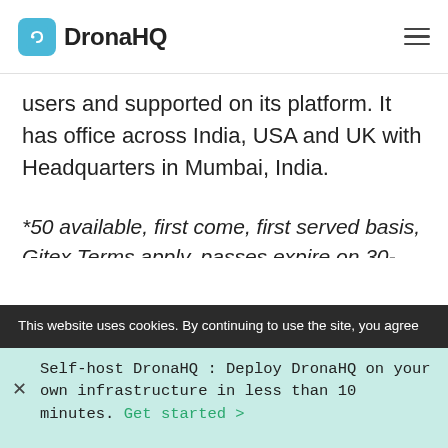DronaHQ
users and supported on its platform. It has office across India, USA and UK with Headquarters in Mumbai, India.
*50 available, first come, first served basis, Gitex Terms apply, passes expire on 30-Sept-2019.
This website uses cookies. By continuing to use the site, you agree
Self-host DronaHQ : Deploy DronaHQ on your own infrastructure in less than 10 minutes. Get started >